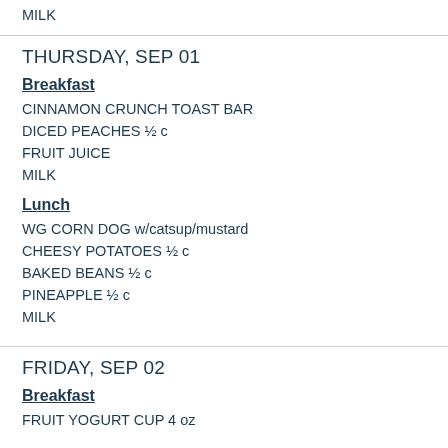MILK
THURSDAY, SEP 01
Breakfast
CINNAMON CRUNCH TOAST BAR
DICED PEACHES ½ c
FRUIT JUICE
MILK
Lunch
WG CORN DOG w/catsup/mustard
CHEESY POTATOES ½ c
BAKED BEANS ½ c
PINEAPPLE ½ c
MILK
FRIDAY, SEP 02
Breakfast
FRUIT YOGURT CUP 4 oz